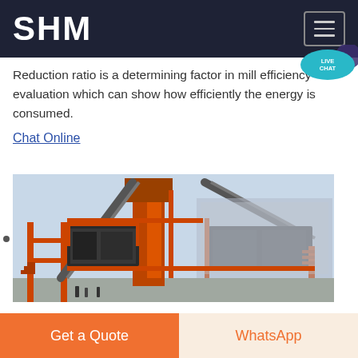SHM
Reduction ratio is a determining factor in mill efficiency evaluation which can show how efficiently the energy is consumed.
Chat Online
[Figure (photo): Large industrial mining/crushing machine with orange steel frame structure, conveyor belts, multi-level platforms, and heavy machinery components.]
Get a Quote | WhatsApp